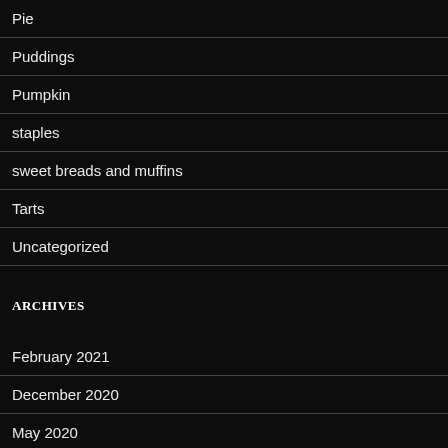Pie
Puddings
Pumpkin
staples
sweet breads and muffins
Tarts
Uncategorized
ARCHIVES
February 2021
December 2020
May 2020